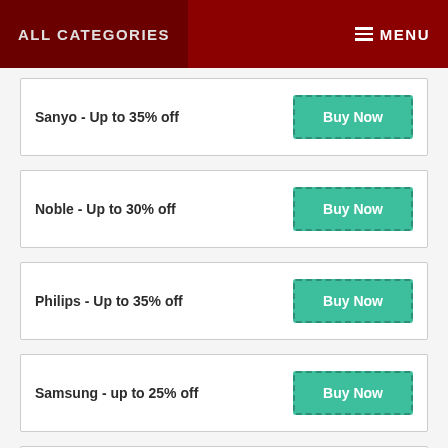ALL CATEGORIES   MENU
Sanyo - Up to 35% off
Noble - Up to 30% off
Philips - Up to 35% off
Samsung - up to 25% off
Le Eco - Up to 10% off